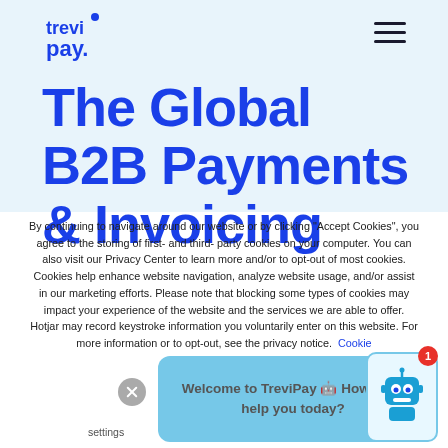[Figure (logo): TreviPay logo - blue stylized text with 'trevi' on top and 'pay.' below, with a small dot/circle accent above the 'i']
The Global B2B Payments & Invoicing
By continuing to navigate around our website or by clicking "Accept Cookies", you agree to the storing of first- and third-party cookies on your computer. You can also visit our Privacy Center to learn more and/or to opt-out of most cookies. Cookies help enhance website navigation, analyze website usage, and/or assist in our marketing efforts. Please note that blocking some types of cookies may impact your experience of the website and the services we are able to offer. Hotjar may record keystroke information you voluntarily enter on this website. For more information or to opt-out, see the privacy notice.
[Figure (screenshot): Cookie settings link and Accept Cookies button at the bottom of the cookie notice. A chatbot widget showing 'Welcome to TreviPay How can I help you today?' with a robot icon and notification badge showing 1.]